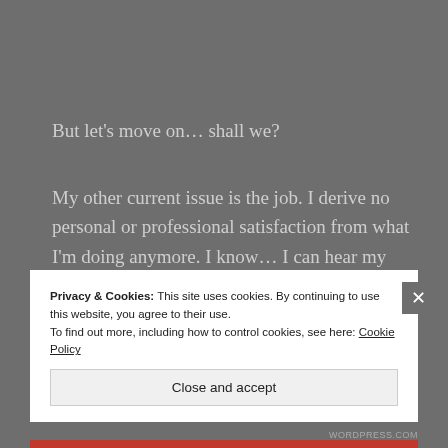But let's move on... shall we?
My other current issue is the job. I derive no personal or professional satisfaction from what I'm doing anymore. I know... I can hear my mother saying how proud she is of me and the work I do serving individuals in the mental health field.
Privacy & Cookies: This site uses cookies. By continuing to use this website, you agree to their use.
To find out more, including how to control cookies, see here: Cookie Policy
Close and accept